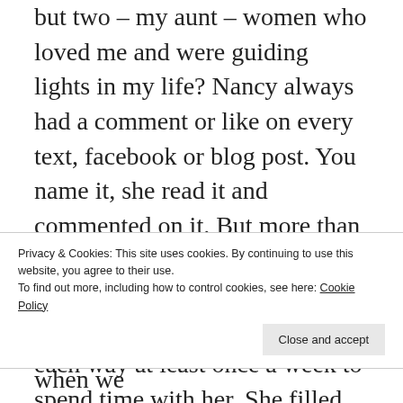but two – my aunt – women who loved me and were guiding lights in my life? Nancy always had a comment or like on every text, facebook or blog post. You name it, she read it and commented on it. But more than that, she showed up. She was my partner in caring for my mom, her sister, making the hour drive each way at least once a week to spend time with her. She filled the void of the grandmother my kids lost when my mom
Privacy & Cookies: This site uses cookies. By continuing to use this website, you agree to their use.
To find out more, including how to control cookies, see here: Cookie Policy
Close and accept
sailing, ferried them to events when we